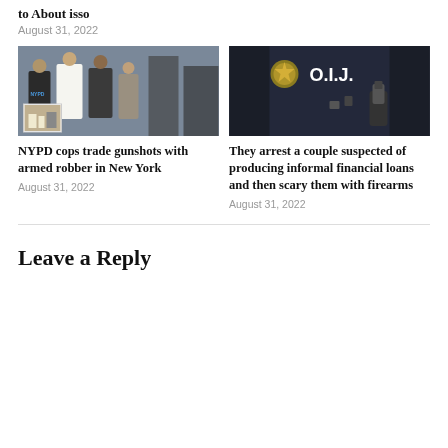to About isso
August 31, 2022
[Figure (photo): NYPD police officers standing outdoors in discussion, with an inset smaller image of a crime scene]
NYPD cops trade gunshots with armed robber in New York
August 31, 2022
[Figure (photo): Close-up of a law enforcement officer's vest with badge and gun holster, vest labeled O.I.J.]
They arrest a couple suspected of producing informal financial loans and then scary them with firearms
August 31, 2022
Leave a Reply